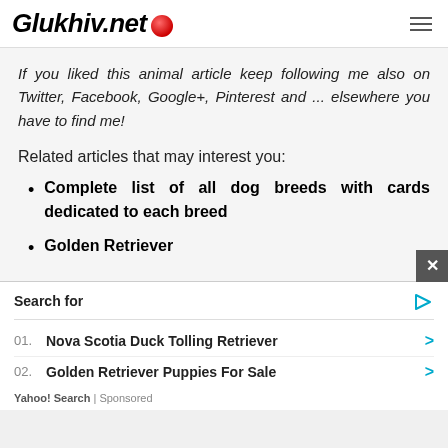Glukhiv.net
If you liked this animal article keep following me also on Twitter, Facebook, Google+, Pinterest and ... elsewhere you have to find me!
Related articles that may interest you:
Complete list of all dog breeds with cards dedicated to each breed
Golden Retriever
Search for
01. Nova Scotia Duck Tolling Retriever
02. Golden Retriever Puppies For Sale
Yahoo! Search | Sponsored